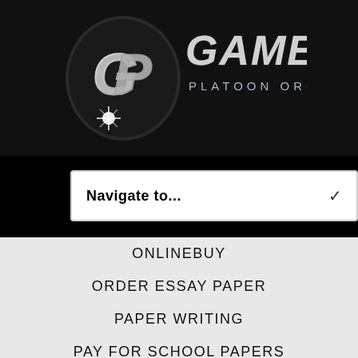[Figure (logo): Gamers Platoon Organization logo with silver stylized GP emblem and metallic text]
Navigate to...
ONLINEBUY
ORDER ESSAY PAPER
PAPER WRITING
PAY FOR SCHOOL PAPERS
PROFESSIONAL ESSAY WRITERS 24H 7D ONLINE
PROFESSIONAL ESSAY WRITING SERVICE
RUSSIAN BRIDES CLUB
SEX CHAT FOR SINGLES
SUGAR DADDY IN AUSTRALIA
TERMPAPERHELP
TIPS FOR ONLINE DATING